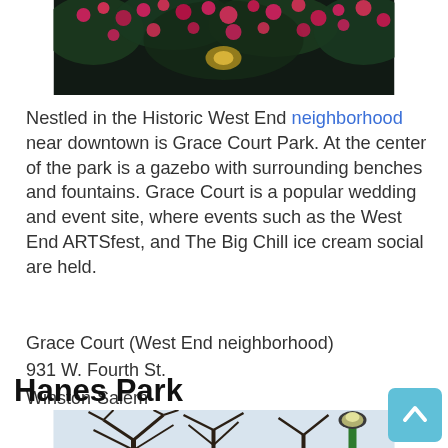[Figure (photo): Photo of pink/red flowers against dark foliage background, cropped at top of page]
Nestled in the Historic West End neighborhood near downtown is Grace Court Park. At the center of the park is a gazebo with surrounding benches and fountains. Grace Court is a popular wedding and event site, where events such as the West End ARTSfest, and The Big Chill ice cream social are held.
Grace Court (West End neighborhood)
931 W. Fourth St.
Winston-Salem
Hanes Park
[Figure (photo): Photo of bare winter trees with a green lamp post, park scene]